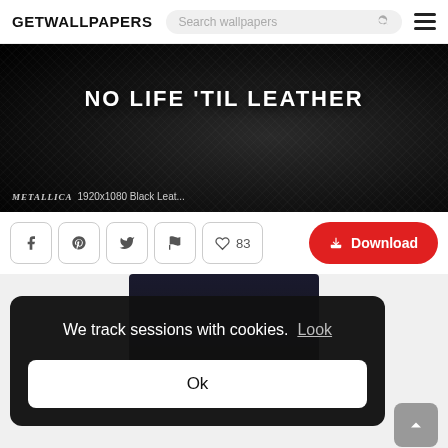GETWALLPAPERS  Search wallpapers
[Figure (screenshot): Black leather texture background wallpaper with text 'NO LIFE 'TIL LEATHER' and Metallica logo overlay. Labeled 1920x1080 Black Leat...]
♡ 83  Download
[Figure (screenshot): Partial thumbnail preview of another wallpaper with dark background]
We track sessions with cookies. Look
Ok